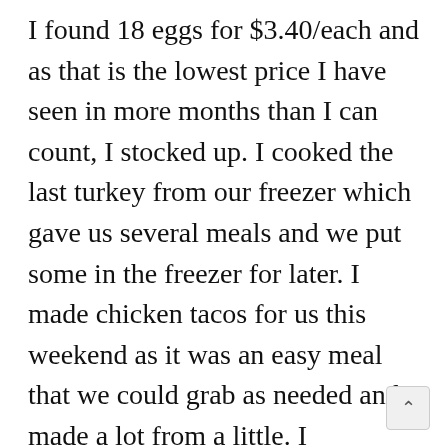I found 18 eggs for $3.40/each and as that is the lowest price I have seen in more months than I can count, I stocked up. I cooked the last turkey from our freezer which gave us several meals and we put some in the freezer for later. I made chicken tacos for us this weekend as it was an easy meal that we could grab as needed and made a lot from a little. I supplemented the chicken with black beans and rice and this had fed us plus extended family over several days. I am a